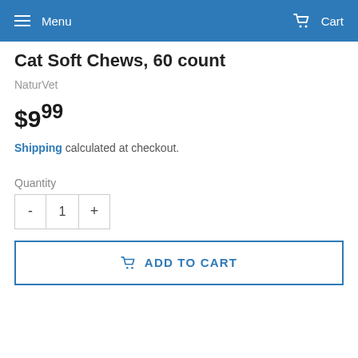Menu   Cart
Cat Soft Chews, 60 count
NaturVet
$9.99
Shipping calculated at checkout.
Quantity
- 1 +
ADD TO CART